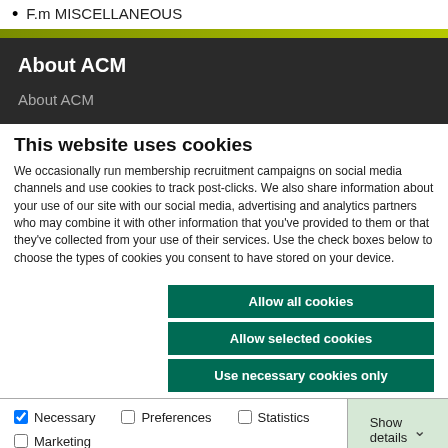F.m MISCELLANEOUS
About ACM
About ACM
This website uses cookies
We occasionally run membership recruitment campaigns on social media channels and use cookies to track post-clicks. We also share information about your use of our site with our social media, advertising and analytics partners who may combine it with other information that you've provided to them or that they've collected from your use of their services. Use the check boxes below to choose the types of cookies you consent to have stored on your device.
Allow all cookies
Allow selected cookies
Use necessary cookies only
Necessary  Preferences  Statistics  Marketing  Show details